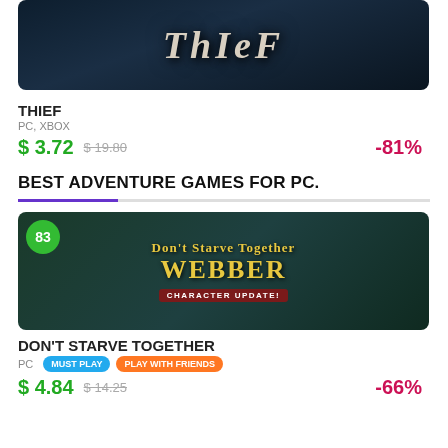[Figure (screenshot): Game cover image for THIEF with dark blue/grey background and styled text logo]
THIEF
PC, XBOX
$ 3.72  $ 19.80  -81%
BEST ADVENTURE GAMES FOR PC.
[Figure (screenshot): Game cover image for Don't Starve Together: Webber Character Update, featuring the Webber character and golden stylized text on dark background. Score badge showing 83.]
DON'T STARVE TOGETHER
PC   MUST PLAY   PLAY WITH FRIENDS
$ 4.84  $ 14.25  -66%